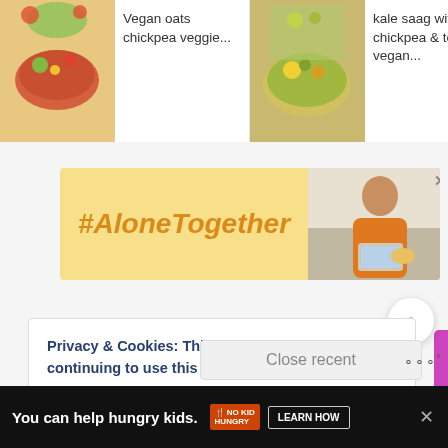[Figure (screenshot): Website screenshot showing recipe cards at top, a #AloneTogether advertisement banner in the middle, a cookie consent notice at the bottom, and a 'No Kid Hungry' ad bar at the very bottom.]
Vegan oats chickpea veggie...
kale saag with chickpea & tofu vegan...
Almond Fl... adad... (Vegan &...
[Figure (infographic): #AloneTogether advertisement banner with yellow background and photo of woman eating]
Privacy & Cookies: This site uses cookies. By continuing to use this website, you agree to their use.
To find out more, including how to control cookies, see here:
Cookie Policy
[Figure (infographic): Bottom advertisement bar: 'You can help hungry kids.' No Kid Hungry branding with LEARN HOW button]